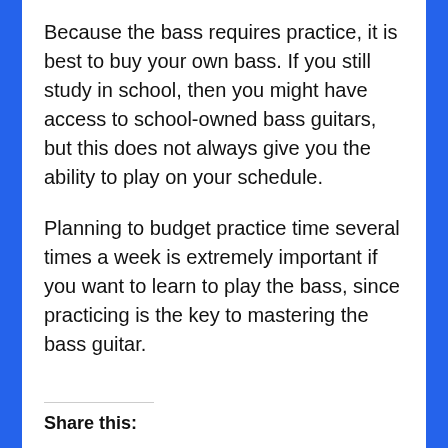Because the bass requires practice, it is best to buy your own bass. If you still study in school, then you might have access to school-owned bass guitars, but this does not always give you the ability to play on your schedule.
Planning to budget practice time several times a week is extremely important if you want to learn to play the bass, since practicing is the key to mastering the bass guitar.
Share this: